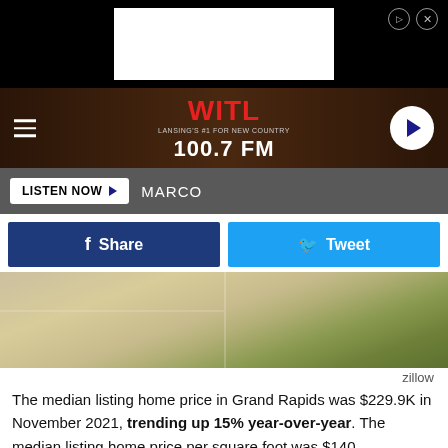[Figure (screenshot): WITL 100.7 FM radio station website header with hamburger menu, logo, and play button on dark wood background]
LISTEN NOW ▶  MARCO
[Figure (screenshot): Facebook Share and Twitter Tweet social sharing buttons]
[Figure (photo): Sidewalk and grass photo from zillow]
zillow
The median listing home price in Grand Rapids was $229.9K in November 2021, trending up 15% year-over-year. The median listing home price per square foot was $140.
Downtown Grand Rapids has a median listing home price of $399.5K, making it the most expensive neighborhood. The